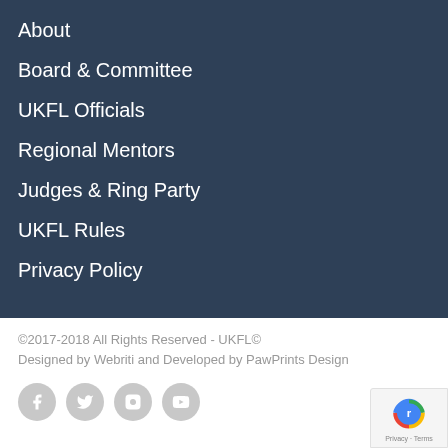About
Board & Committee
UKFL Officials
Regional Mentors
Judges & Ring Party
UKFL Rules
Privacy Policy
©2017-2018 All Rights Reserved - UKFL©
Designed by Webriti and Developed by PawPrints Design
[Figure (other): Social media icons: Facebook, Twitter, Instagram, YouTube]
[Figure (logo): reCAPTCHA badge with Privacy and Terms text]